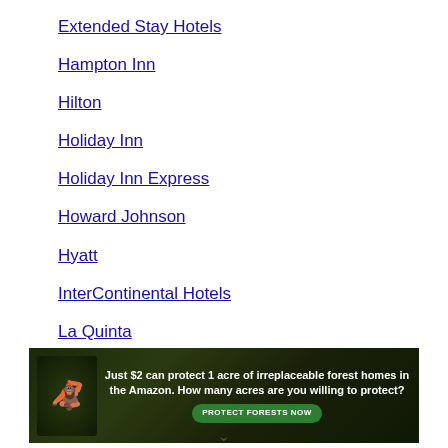Extended Stay Hotels
Hampton Inn
Hilton
Holiday Inn
Holiday Inn Express
Howard Johnson
Hyatt
InterContinental Hotels
La Quinta
Marriott
[Figure (illustration): Advertisement banner: Just $2 can protect 1 acre of irreplaceable forest homes in the Amazon. How many acres are you willing to protect? PROTECT FORESTS NOW button, with image of orangutan in forest.]